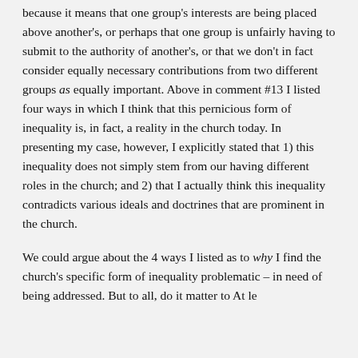because it means that one group's interests are being placed above another's, or perhaps that one group is unfairly having to submit to the authority of another's, or that we don't in fact consider equally necessary contributions from two different groups as equally important. Above in comment #13 I listed four ways in which I think that this pernicious form of inequality is, in fact, a reality in the church today. In presenting my case, however, I explicitly stated that 1) this inequality does not simply stem from our having different roles in the church; and 2) that I actually think this inequality contradicts various ideals and doctrines that are prominent in the church.
We could argue about the 4 ways I listed as to why I find the church's specific form of inequality problematic – in need of being addressed. But to...